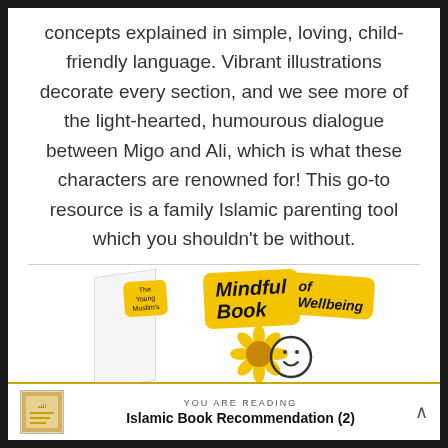concepts explained in simple, loving, child-friendly language. Vibrant illustrations decorate every section, and we see more of the light-hearted, humourous dialogue between Migo and Ali, which is what these characters are renowned for! This go-to resource is a family Islamic parenting tool which you shouldn't be without.
[Figure (photo): Book cover of 'The Young Muslim's Mindful Book of Wellbeing' shown at an angle with yellow labels and a sunflower character illustration at the bottom.]
YOU ARE READING
Islamic Book Recommendation (2)